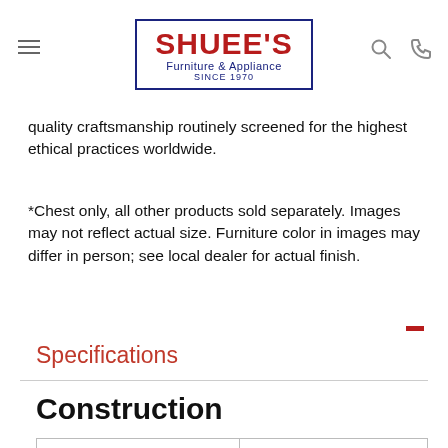[Figure (logo): Shuee's Furniture & Appliance logo with navigation icons (hamburger menu, search, phone)]
quality craftsmanship routinely screened for the highest ethical practices worldwide.
*Chest only, all other products sold separately. Images may not reflect actual size. Furniture color in images may differ in person; see local dealer for actual finish.
Specifications
Construction
| Handle Type: | Knobs |
| --- | --- |
| Handle Type: | Knobs |